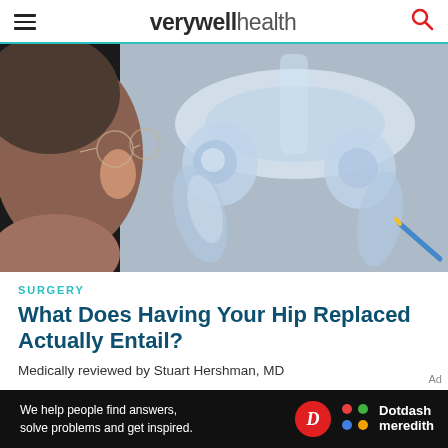verywell health
[Figure (photo): An older person with glasses viewing a hip X-ray image, seen from behind/side. The X-ray shows the pelvis and hip joints in white/grey tones.]
SURGERY
What Does Having Your Hip Replaced Actually Entail?
Medically reviewed by Stuart Hershman, MD